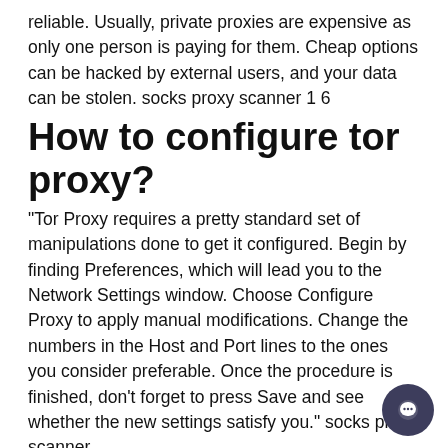reliable. Usually, private proxies are expensive as only one person is paying for them. Cheap options can be hacked by external users, and your data can be stolen. socks proxy scanner 1 6
How to configure tor proxy?
"Tor Proxy requires a pretty standard set of manipulations done to get it configured. Begin by finding Preferences, which will lead you to the Network Settings window. Choose Configure Proxy to apply manual modifications. Change the numbers in the Host and Port lines to the ones you consider preferable. Once the procedure is finished, don't forget to press Save and see whether the new settings satisfy you." socks proxy scanner
What are rotating proxies?
During web scraping or collection of data from several websites, you can face a problem because security systems can block your IP address. You can use rotating proxies to prevent the blocking from